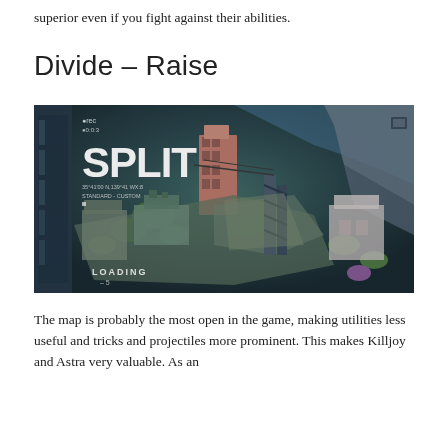superior even if you fight against their abilities.
Divide – Raise
[Figure (screenshot): Screenshot of the Valorant game map 'Split' loading screen, showing an aerial isometric view of a urban map with buildings, greenery, and infrastructure. The word 'SPLIT' appears in large white bold text on the left side, with coordinate and mode text below it. A 'LOADING' indicator appears at the bottom left.]
The map is probably the most open in the game, making utilities less useful and tricks and projectiles more prominent. This makes Killjoy and Astra very valuable. As an